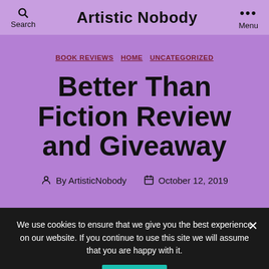Search  Artistic Nobody  Menu
BOOK REVIEWS  HOME  UNCATEGORIZED
Better Than Fiction Review and Giveaway
By ArtisticNobody  October 12, 2019
We use cookies to ensure that we give you the best experience on our website. If you continue to use this site we will assume that you are happy with it.